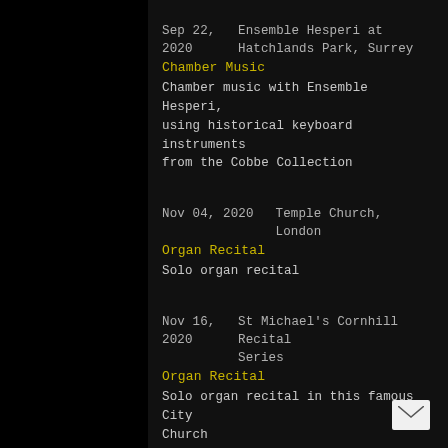Sep 22, 2020    Ensemble Hesperi at Hatchlands Park, Surrey
Chamber Music
Chamber music with Ensemble Hesperi, using historical keyboard instruments from the Cobbe Collection
Nov 04, 2020   Temple Church, London
Organ Recital
Solo organ recital
Nov 16, 2020    St Michael's Cornhill Recital Series
Organ Recital
Solo organ recital in this famous City Church